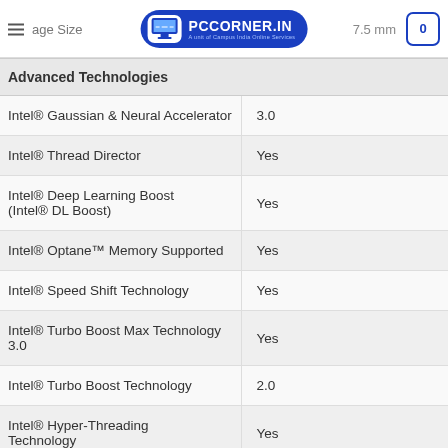PCCORNER.IN — A unit of Campus India Online Services
Advanced Technologies
| Feature | Value |
| --- | --- |
| Intel® Gaussian & Neural Accelerator | 3.0 |
| Intel® Thread Director | Yes |
| Intel® Deep Learning Boost (Intel® DL Boost) | Yes |
| Intel® Optane™ Memory Supported | Yes |
| Intel® Speed Shift Technology | Yes |
| Intel® Turbo Boost Max Technology 3.0 | Yes |
| Intel® Turbo Boost Technology | 2.0 |
| Intel® Hyper-Threading Technology | Yes |